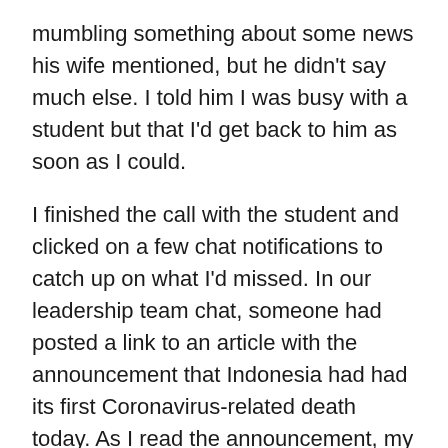mumbling something about some news his wife mentioned, but he didn't say much else. I told him I was busy with a student but that I'd get back to him as soon as I could.
I finished the call with the student and clicked on a few chat notifications to catch up on what I'd missed. In our leadership team chat, someone had posted a link to an article with the announcement that Indonesia had had its first Coronavirus-related death today. As I read the announcement, my heart stopped. The gender and age were the same as our teacher who tested positive for the virus a couple of days ago and who is in hospital in isolation. That, along with the fact that the article stated it was a foreign-national, made me fear the worst. With my heart in my stomach, my hands shaking uncontrollably, I typed, "Please tell me this isn't our teacher."